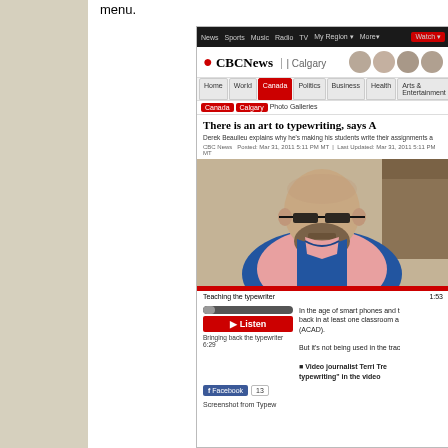menu.
[Figure (screenshot): Screenshot of CBC News Calgary website showing article 'There is an art to typewriting, says A...' with a video thumbnail of a bald bearded man wearing glasses and a blue vest over a pink plaid shirt, along with a Listen audio widget and Facebook share button. The article is about Derek Beaulieu making students write assignments on typewriters.]